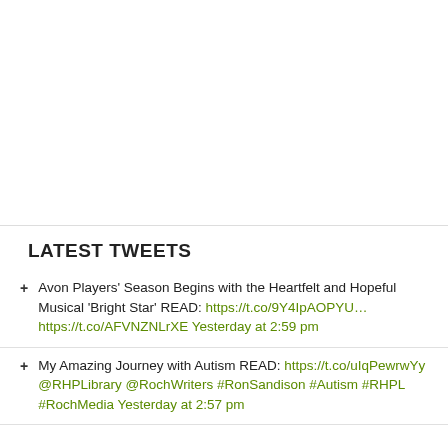LATEST TWEETS
Avon Players' Season Begins with the Heartfelt and Hopeful Musical 'Bright Star' READ: https://t.co/9Y4IpAOPYU… https://t.co/AFVNZNLrXE Yesterday at 2:59 pm
My Amazing Journey with Autism READ: https://t.co/uIqPewrwYy @RHPLibrary @RochWriters #RonSandison #Autism #RHPL #RochMedia Yesterday at 2:57 pm